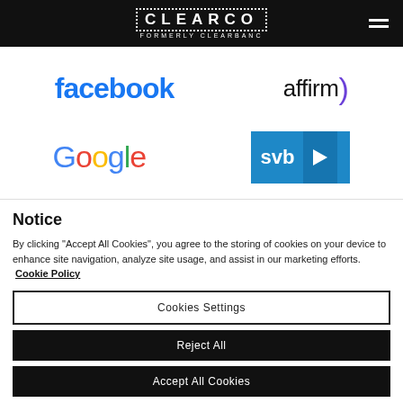CLEARCO FORMERLY CLEARBANC
[Figure (logo): Facebook logo in blue text]
[Figure (logo): Affirm logo in black text with purple parenthesis]
[Figure (logo): Google logo in multicolor text]
[Figure (logo): SVB logo in white on blue background with arrow]
Notice
By clicking "Accept All Cookies", you agree to the storing of cookies on your device to enhance site navigation, analyze site usage, and assist in our marketing efforts.  Cookie Policy
Cookies Settings
Reject All
Accept All Cookies